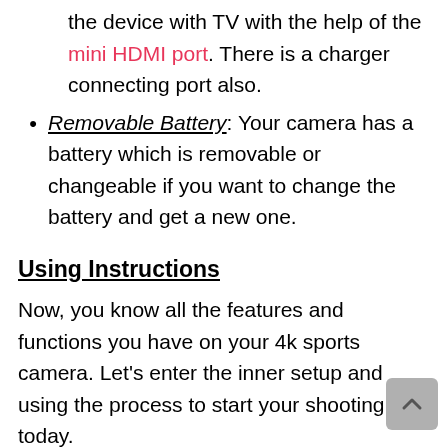the device with TV with the help of the mini HDMI port. There is a charger connecting port also.
Removable Battery: Your camera has a battery which is removable or changeable if you want to change the battery and get a new one.
Using Instructions
Now, you know all the features and functions you have on your 4k sports camera. Let's enter the inner setup and using the process to start your shooting today.